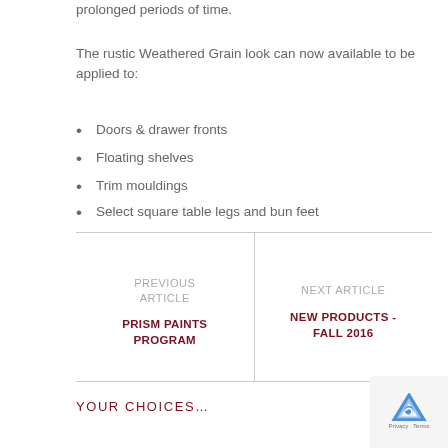prolonged periods of time.
The rustic Weathered Grain look can now available to be applied to:
Doors & drawer fronts
Floating shelves
Trim mouldings
Select square table legs and bun feet
PREVIOUS ARTICLE
PRISM PAINTS PROGRAM
NEXT ARTICLE
NEW PRODUCTS - FALL 2016
YOUR CHOICES…